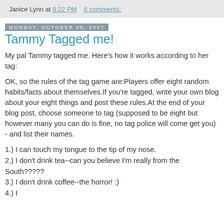Janice Lynn at 8:22 PM   6 comments:
Monday, October 08, 2007
Tammy Tagged me!
My pal Tammy tagged me. Here's how it works according to her tag:
OK, so the rules of the tag game are:Players offer eight random habits/facts about themselves.If you're tagged, write your own blog about your eight things and post these rules.At the end of your blog post, choose someone to tag (supposed to be eight but however many you can do is fine, no tag police will come get you) - and list their names.
1.) I can touch my tongue to the tip of my nose.
2.) I don't drink tea--can you believe I'm really from the South?????
3.) I don't drink coffee--the horror! ;)
4.) [cut off]